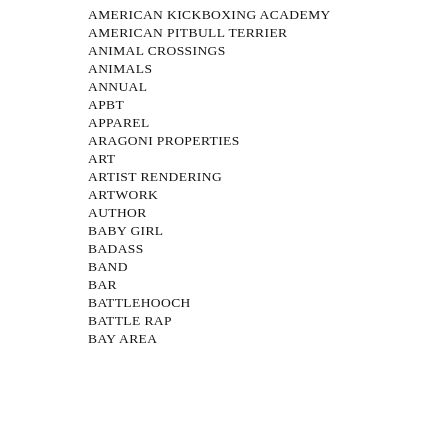AMERICAN KICKBOXING ACADEMY
AMERICAN PITBULL TERRIER
ANIMAL CROSSINGS
ANIMALS
ANNUAL
APBT
APPAREL
ARAGONI PROPERTIES
ART
ARTIST RENDERING
ARTWORK
AUTHOR
BABY GIRL
BADASS
BAND
BAR
BATTLEHOOCH
BATTLE RAP
BAY AREA